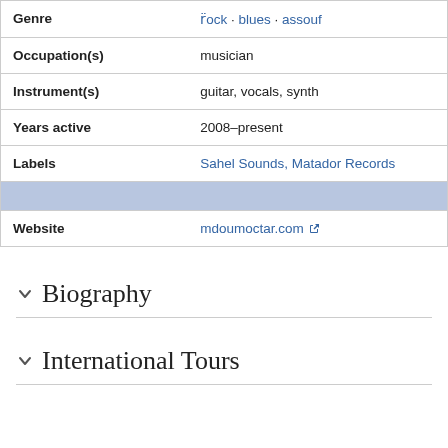| Field | Value |
| --- | --- |
| Genre | r̈ock · blues · assouf |
| Occupation(s) | musician |
| Instrument(s) | guitar, vocals, synth |
| Years active | 2008–present |
| Labels | Sahel Sounds, Matador Records |
|  |  |
| Website | mdoumoctar.com ↗ |
Biography
International Tours